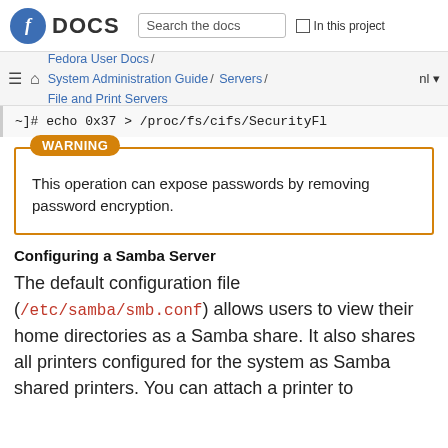DOCS | Search the docs | In this project
Fedora User Docs / System Administration Guide / Servers / File and Print Servers | nl
~]# echo 0x37 > /proc/fs/cifs/SecurityFla
WARNING
This operation can expose passwords by removing password encryption.
Configuring a Samba Server
The default configuration file (/etc/samba/smb.conf) allows users to view their home directories as a Samba share. It also shares all printers configured for the system as Samba shared printers. You can attach a printer to